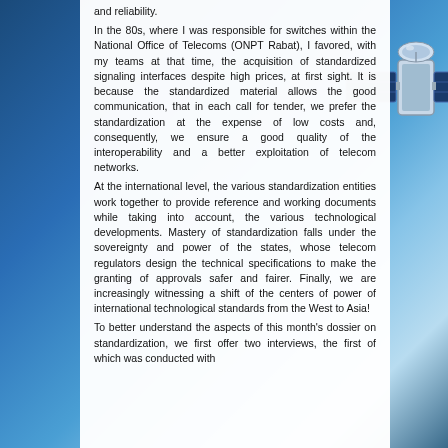[Figure (illustration): Satellite in orbit above Earth with blue atmosphere and cloud cover visible. Space background. The satellite has large solar panels extending from its body.]
and reliability.
In the 80s, where I was responsible for switches within the National Office of Telecoms (ONPT Rabat), I favored, with my teams at that time, the acquisition of standardized signaling interfaces despite high prices, at first sight. It is because the standardized material allows the good communication, that in each call for tender, we prefer the standardization at the expense of low costs and, consequently, we ensure a good quality of the interoperability and a better exploitation of telecom networks.
At the international level, the various standardization entities work together to provide reference and working documents while taking into account, the various technological developments. Mastery of standardization falls under the sovereignty and power of the states, whose telecom regulators design the technical specifications to make the granting of approvals safer and fairer. Finally, we are increasingly witnessing a shift of the centers of power of international technological standards from the West to Asia!
To better understand the aspects of this month's dossier on standardization, we first offer two interviews, the first of which was conducted with